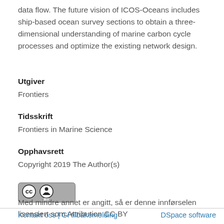data flow. The future vision of ICOS-Oceans includes ship-based ocean survey sections to obtain a three-dimensional understanding of marine carbon cycle processes and optimize the existing network design.
Utgiver
Frontiers
Tidsskrift
Frontiers in Marine Science
Opphavsrett
Copyright 2019 The Author(s)
[Figure (logo): Creative Commons Attribution (CC BY) license badge]
Med mindre annet er angitt, så er denne innførselen lisensiert som Attribution CC BY
Kontakt oss | Gi tilbakemelding    DSpace software